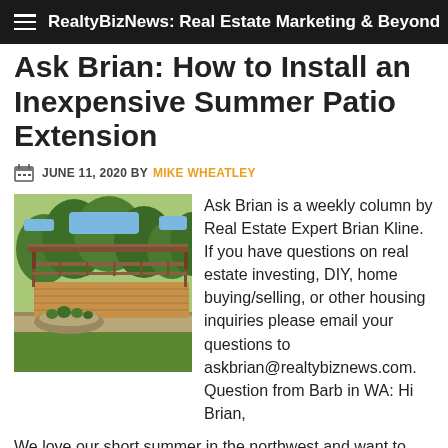RealtyBizNews: Real Estate Marketing & Beyond
Ask Brian: How to Install an Inexpensive Summer Patio Extension
JUNE 11, 2020 BY MIKE WHEATLEY
[Figure (photo): Outdoor backyard patio/deck area with wood decking, stone border, and green trees in background]
Ask Brian is a weekly column by Real Estate Expert Brian Kline. If you have questions on real estate investing, DIY, home buying/selling, or other housing inquiries please email your questions to askbrian@realtybiznews.com. Question from Barb in WA: Hi Brian, We love our short summer in the northwest and want to make the most of
Read More »